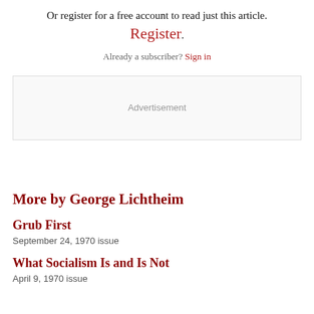Or register for a free account to read just this article. Register. Already a subscriber? Sign in
[Figure (other): Advertisement placeholder box with light grey background and 'Advertisement' label text]
More by George Lichtheim
Grub First
September 24, 1970 issue
What Socialism Is and Is Not
April 9, 1970 issue